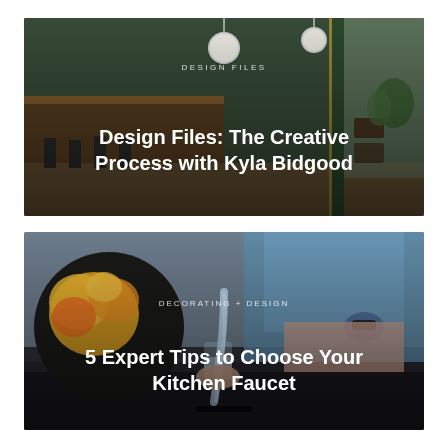[Figure (photo): Interior photo of a modern cafe/restaurant with dark green banquette seating, wooden counters, pendant globe lights, and large windows. Text overlay reads 'DESIGN FILES' as category and title below.]
DESIGN FILES
Design Files: The Creative Process with Kyla Bidgood
[Figure (photo): Close-up photo of a person in a blue shirt washing fruit under a running kitchen faucet over a dark granite sink, with a bowl of citrus and bananas visible. Text overlay reads 'DECORATING + DESIGN' as category and title below.]
DECORATING + DESIGN
5 Expert Tips to Choose Your Kitchen Faucet